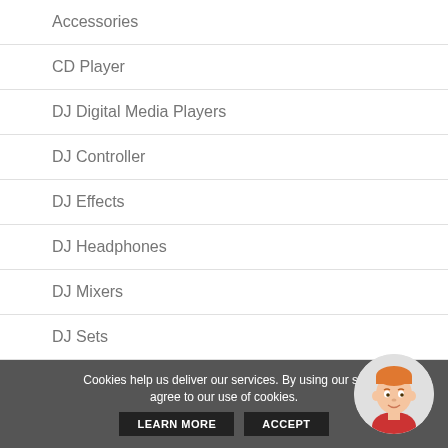Accessories
CD Player
DJ Digital Media Players
DJ Controller
DJ Effects
DJ Headphones
DJ Mixers
DJ Sets
Drive Belts
Cookies help us deliver our services. By using our services, you agree to our use of cookies.
LEARN MORE
ACCEPT